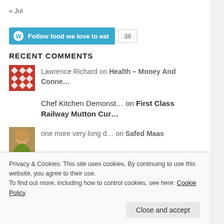« Jul
[Figure (other): WordPress follow button 'Follow food we love to eat' with count badge showing 38]
RECENT COMMENTS
Lawrence Richard on Health – Money And Conne…
Chef Kitchen Demonst… on First Class Railway Mutton Cur…
one more very long d… on Safed Maas
Simple but the Best… on Breakfast Granary Bread
Privacy & Cookies: This site uses cookies. By continuing to use this website, you agree to their use. To find out more, including how to control cookies, see here: Cookie Policy
Close and accept